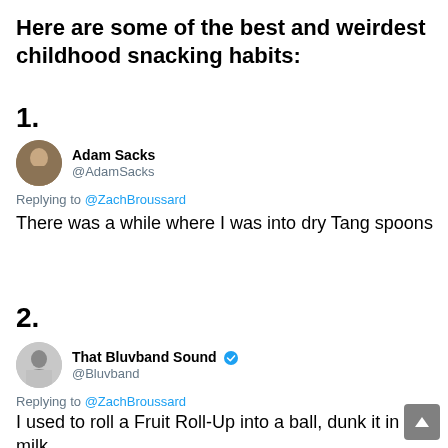Here are some of the best and weirdest childhood snacking habits:
1.
[Figure (screenshot): Tweet from @AdamSacks replying to @ZachBroussard: There was a while where I was into dry Tang spoons]
2.
[Figure (screenshot): Tweet from That Bluvband Sound @Bluvband replying to @ZachBroussard: I used to roll a Fruit Roll-Up into a ball, dunk it in milk,]